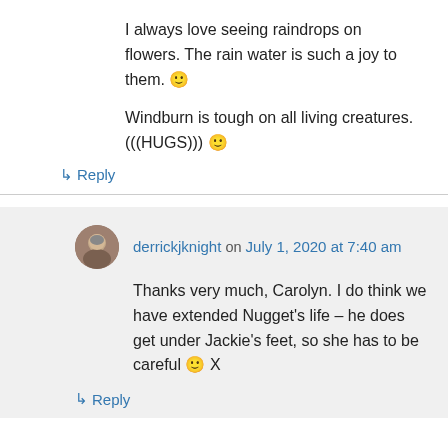I always love seeing raindrops on flowers. The rain water is such a joy to them. 🙂
Windburn is tough on all living creatures. (((HUGS))) 🙂
↳ Reply
derrickjknight on July 1, 2020 at 7:40 am
Thanks very much, Carolyn. I do think we have extended Nugget's life – he does get under Jackie's feet, so she has to be careful 🙂 X
↳ Reply